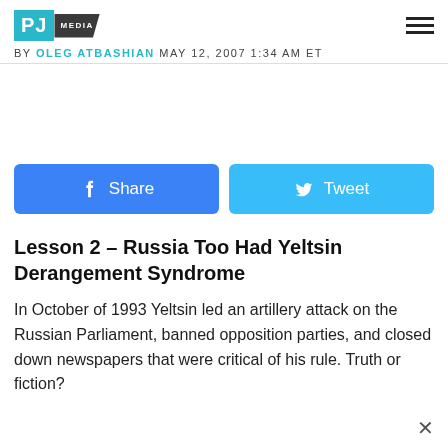PJ MEDIA
BY OLEG ATBASHIAN MAY 12, 2007 1:34 AM ET
[Figure (other): Facebook Share button and Twitter Tweet button]
Lesson 2 – Russia Too Had Yeltsin Derangement Syndrome
In October of 1993 Yeltsin led an artillery attack on the Russian Parliament, banned opposition parties, and closed down newspapers that were critical of his rule. Truth or fiction?